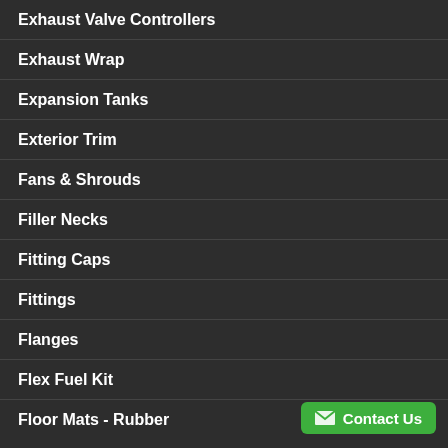Exhaust Valve Controllers
Exhaust Wrap
Expansion Tanks
Exterior Trim
Fans & Shrouds
Filler Necks
Fitting Caps
Fittings
Flanges
Flex Fuel Kit
Floor Mats - Rubber